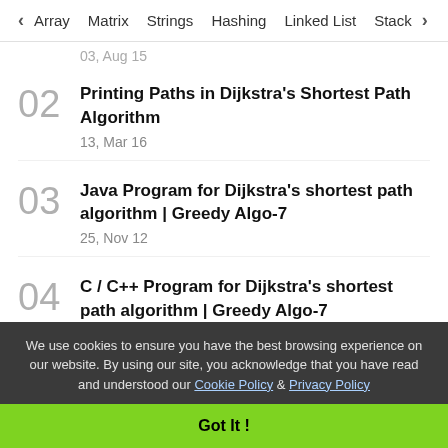< Array  Matrix  Strings  Hashing  Linked List  Stack >
03, Aug 15
02 Printing Paths in Dijkstra's Shortest Path Algorithm
13, Mar 16
03 Java Program for Dijkstra's shortest path algorithm | Greedy Algo-7
25, Nov 12
04 C / C++ Program for Dijkstra's shortest path algorithm | Greedy Algo-7
25, Nov 12
We use cookies to ensure you have the best browsing experience on our website. By using our site, you acknowledge that you have read and understood our Cookie Policy & Privacy Policy
Got It !